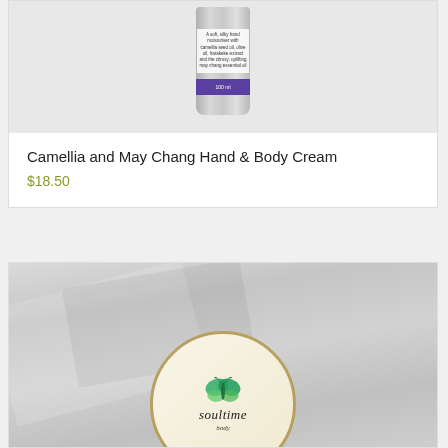[Figure (photo): Product photo of a silver cream tube with purple band labeled 100ml, on a light grey/white background]
Camellia and May Chang Hand & Body Cream
$18.50
[Figure (photo): Photo of a round cream jar with Soultime logo (butterfly graphic and italic soultime text) on white background, resting on white fluffy towels]